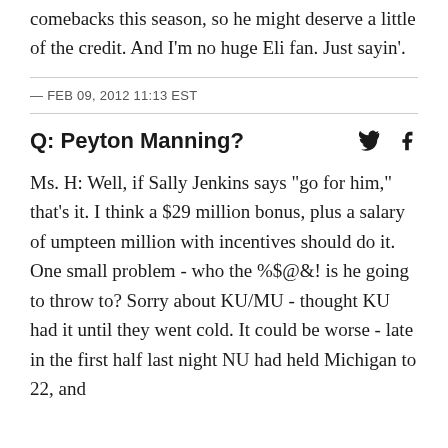comebacks this season, so he might deserve a little of the credit. And I'm no huge Eli fan. Just sayin'.
— FEB 09, 2012 11:13 EST
Q: Peyton Manning?
Ms. H: Well, if Sally Jenkins says "go for him," that's it. I think a $29 million bonus, plus a salary of umpteen million with incentives should do it. One small problem - who the %$@&! is he going to throw to? Sorry about KU/MU - thought KU had it until they went cold. It could be worse - late in the first half last night NU had held Michigan to 22, and